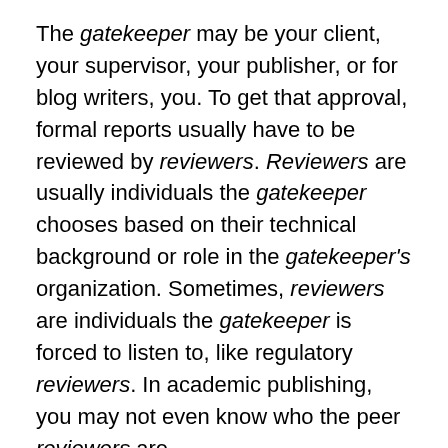The gatekeeper may be your client, your supervisor, your publisher, or for blog writers, you. To get that approval, formal reports usually have to be reviewed by reviewers. Reviewers are usually individuals the gatekeeper chooses based on their technical background or role in the gatekeeper's organization. Sometimes, reviewers are individuals the gatekeeper is forced to listen to, like regulatory reviewers. In academic publishing, you may not even know who the peer reviewers are.
Logically, the acceptance review shouldn't take too long compared to the time you took to analyze the data and write the report. After all, the reviewers only have to read it. In practice, though, reviews take far longer than report preparation. The report you wrote in a month may take six months to be reviewed. Don't panic. It's just the way things seem to happen.